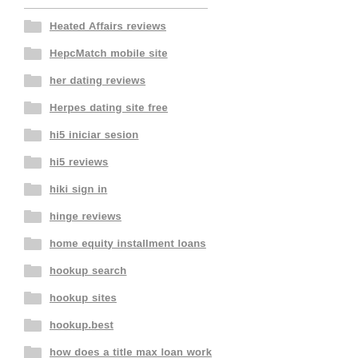Heated Affairs reviews
HepcMatch mobile site
her dating reviews
Herpes dating site free
hi5 iniciar sesion
hi5 reviews
hiki sign in
hinge reviews
home equity installment loans
hookup search
hookup sites
hookup.best
how does a title max loan work